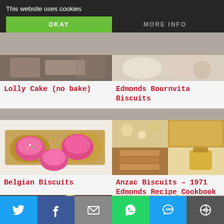This website uses cookies
OKAY
MORE INFO
[Figure (photo): Partially visible food photo top left]
[Figure (photo): Partially visible food photo top right]
Lolly Cake (no bake)
Edmonds Bournvita Biscuits
[Figure (photo): Belgian Biscuits - pink iced round biscuits on wooden spoons]
[Figure (photo): Anzac Biscuits 1971 Edmonds Recipe Cookbook - collage of ingredients and stacked biscuits]
Belgian Biscuits
Anzac Biscuits – 1971 Edmonds Recipe Cookbook
[Figure (photo): Partially visible assorted biscuits bottom left]
[Figure (photo): Partially visible food photo bottom right]